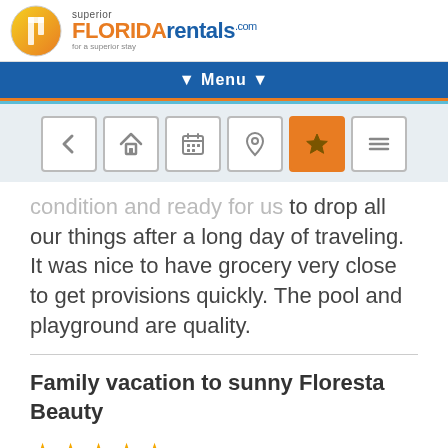[Figure (logo): Superior Florida Rentals logo with circular icon and text]
▼ Menu ▼
[Figure (infographic): Navigation toolbar with icons: back, home, calendar, location, star (active/orange), menu]
...condition and ready for us to drop all our things after a long day of traveling. It was nice to have grocery very close to get provisions quickly. The pool and playground are quality.
Family vacation to sunny Floresta Beauty
[Figure (other): Five gold star rating icons]